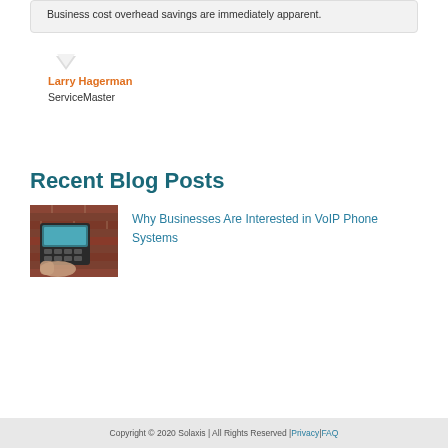Business cost overhead savings are immediately apparent.
Larry Hagerman
ServiceMaster
Recent Blog Posts
[Figure (photo): Photo of a person using a VoIP desk phone]
Why Businesses Are Interested in VoIP Phone Systems
Copyright © 2020 Solaxis | All Rights Reserved | Privacy | FAQ